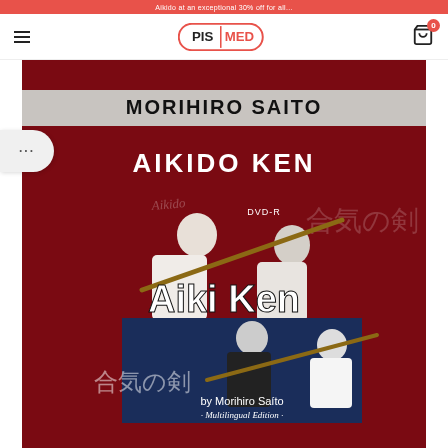Aikido at an exceptional 30% off for all...
[Figure (logo): PIS MED logo in rounded rectangle outline]
[Figure (photo): Product page screenshot showing Morihiro Saito Aikido Ken DVD cover. Dark red background with silver banner reading MORIHIRO SAITO, white text AIKIDO KEN below, and DVD cover art showing two aikidoka practicing with wooden swords (bokken), text Aiki Ken by Morihiro Saito Multilingual Edition.]